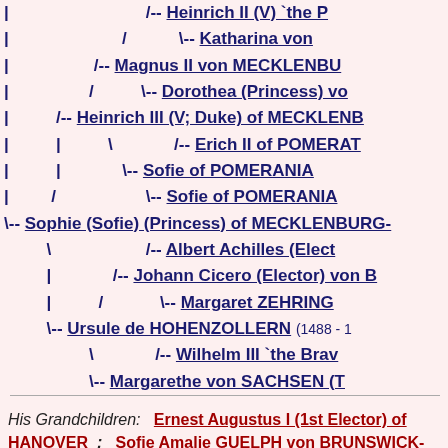[Figure (other): Genealogical tree showing ancestors of Sophie (Sofie) (Princess) of Mecklenburg, including lines through Heinrich II, Katharina von, Magnus II von Mecklenburg, Dorothea (Princess), Heinrich III (V; Duke) of Mecklenburg, Erich II of Pomerania, Sofie of Pomerania, Albert Achilles (Elector), Johann Cicero (Elector) von Brandenburg, Margaret Zehringen, Ursule de Hohenzollern (1488-1), Wilhelm III the Brave, Margarethe von Sachsen, Anna von Oesterreich]
His Grandchildren: Ernest Augustus I (1st Elector) of HANOVER ; Sofie Amalie GUELPH von BRUNSWICK-LUNEBURG ; George William (Duke) von BRUNSWICK-LUNEBURG ; Johann Friedrich (Duke) von BRUNSWICK-